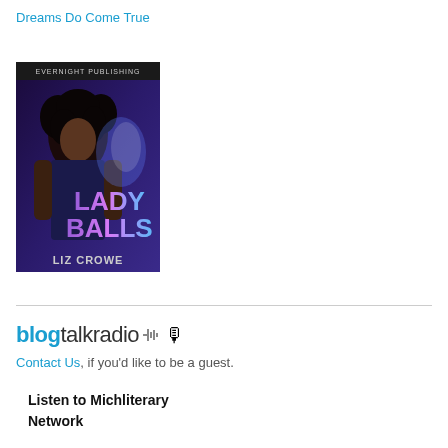Dreams Do Come True
[Figure (illustration): Book cover for 'Lady Balls' by Liz Crowe, published by Evernight Publishing. Shows a woman with natural curly hair against a purple/blue background with the title 'Lady Balls' in large letters.]
[Figure (logo): BlogTalkRadio logo with microphone icon]
Contact Us, if you'd like to be a guest.
Listen to Michliterary Network